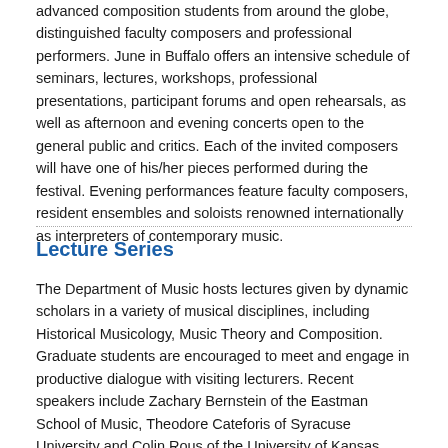advanced composition students from around the globe, distinguished faculty composers and professional performers. June in Buffalo offers an intensive schedule of seminars, lectures, workshops, professional presentations, participant forums and open rehearsals, as well as afternoon and evening concerts open to the general public and critics. Each of the invited composers will have one of his/her pieces performed during the festival. Evening performances feature faculty composers, resident ensembles and soloists renowned internationally as interpreters of contemporary music.
Lecture Series
The Department of Music hosts lectures given by dynamic scholars in a variety of musical disciplines, including Historical Musicology, Music Theory and Composition. Graduate students are encouraged to meet and engage in productive dialogue with visiting lecturers. Recent speakers include Zachary Bernstein of the Eastman School of Music, Theodore Cateforis of Syracuse University and Colin Rous of the University of Kansas.